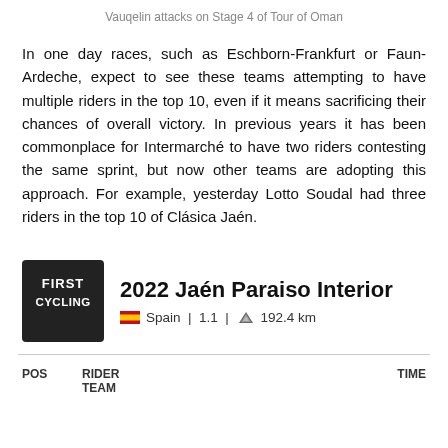Vauqelin attacks on Stage 4 of Tour of Oman
In one day races, such as Eschborn-Frankfurt or Faun-Ardeche, expect to see these teams attempting to have multiple riders in the top 10, even if it means sacrificing their chances of overall victory. In previous years it has been commonplace for Intermarché to have two riders contesting the same sprint, but now other teams are adopting this approach. For example, yesterday Lotto Soudal had three riders in the top 10 of Clásica Jaén.
[Figure (logo): First Cycling logo — dark square with 'FIRST CYCLING' text in white]
2022 Jaén Paraiso Interior
Spain | 1.1 | 192.4 km
| POS | RIDER
TEAM | TIME |
| --- | --- | --- |